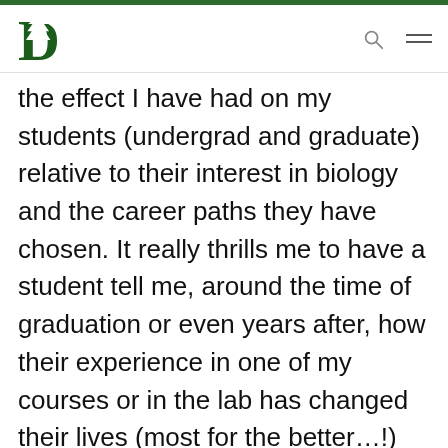[Figure (logo): Dartmouth College green pine tree logo with bold D letter]
the effect I have had on my students (undergrad and graduate) relative to their interest in biology and the career paths they have chosen. It really thrills me to have a student tell me, around the time of graduation or even years after, how their experience in one of my courses or in the lab has changed their lives (most for the better…!) and/or career choices.